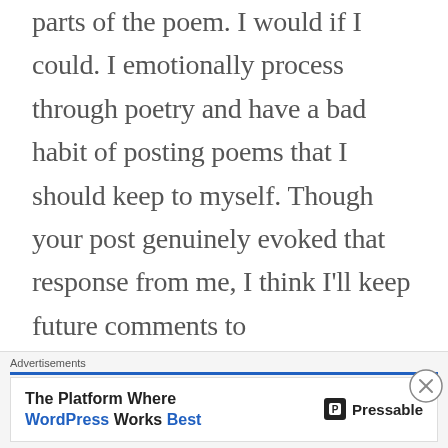parts of the poem. I would if I could. I emotionally process through poetry and have a bad habit of posting poems that I should keep to myself. Though your post genuinely evoked that response from me, I think I'll keep future comments to encouragement. Your post really was thought-provoking, and I really appreciate the Scripture you include in it, as well as your
[Figure (other): Advertisement banner: 'The Platform Where WordPress Works Best' by Pressable, with a close button (X circle) on the right side.]